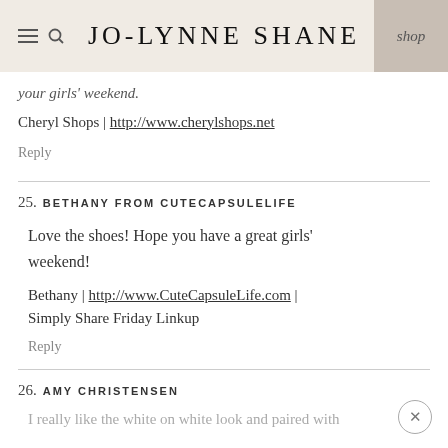JO-LYNNE SHANE | shop
your girls' weekend.
Cheryl Shops | http://www.cherylshops.net
Reply
25. BETHANY FROM CUTECAPSULELIFE
Love the shoes! Hope you have a great girls' weekend!
Bethany | http://www.CuteCapsuleLife.com | Simply Share Friday Linkup
Reply
26. AMY CHRISTENSEN
I really like the white on white look and paired with